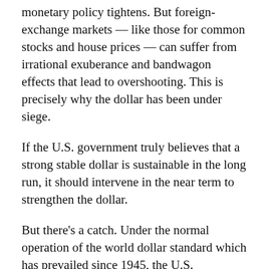monetary policy tightens. But foreign-exchange markets — like those for common stocks and house prices — can suffer from irrational exuberance and bandwagon effects that lead to overshooting. This is precisely why the dollar has been under siege.
If the U.S. government truly believes that a strong stable dollar is sustainable in the long run, it should intervene in the near term to strengthen the dollar.
But there's a catch. Under the normal operation of the world dollar standard which has prevailed since 1945, the U.S. government maintains open capital markets and generally remains passive in foreign-exchange markets, while other governments intervene more or less often to influence their exchange rates.
Today, outside of a few countries in Eastern Europe linked to the euro, countries in Asia, Latin America, and